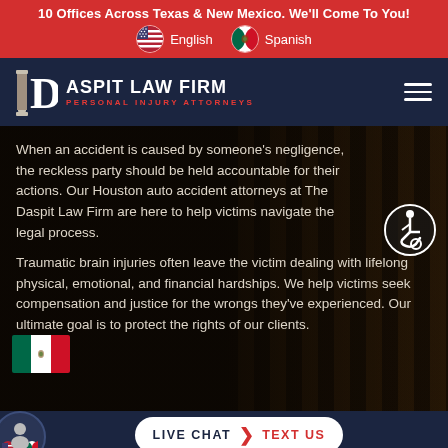10 Offices Across Texas & New Mexico. We'll Come To You!
[Figure (logo): Daspit Law Firm Personal Injury Attorneys logo with column icon]
When an accident is caused by someone's negligence, the reckless party should be held accountable for their actions. Our Houston auto accident attorneys at The Daspit Law Firm are here to help victims navigate the legal process.
Traumatic brain injuries often leave the victim dealing with lifelong physical, emotional, and financial hardships. We help victims seek compensation and justice for the wrongs they've experienced. Our ultimate goal is to protect the rights of our clients.
LIVE CHAT  TEXT US